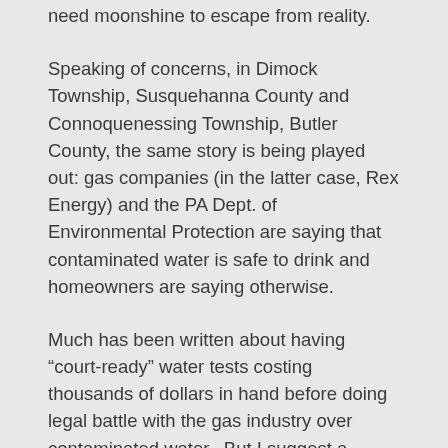need moonshine to escape from reality.
Speaking of concerns, in Dimock Township, Susquehanna County and Connoquenessing Township, Butler County, the same story is being played out: gas companies (in the latter case, Rex Energy) and the PA Dept. of Environmental Protection are saying that contaminated water is safe to drink and homeowners are saying otherwise.
Much has been written about having “court-ready” water tests costing thousands of dollars in hand before doing legal battle with the gas industry over contaminated water.  But I suggest a simpler, cheaper solution: test the safety of the water upon the bodies of those who declare it safe.
With media cameras rolling, let state regulators and gas company representatives converge on neighborhoods with allegedly contaminated water. And then, let them drink up! Not just a little sip, but a nice big glass full of the brown frothy stuff.